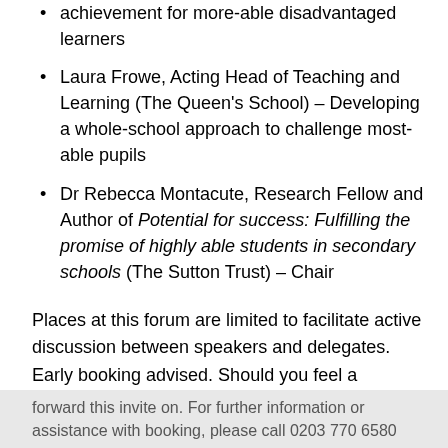achievement for more-able disadvantaged learners
Laura Frowe, Acting Head of Teaching and Learning (The Queen's School) – Developing a whole-school approach to challenge most-able pupils
Dr Rebecca Montacute, Research Fellow and Author of Potential for success: Fulfilling the promise of highly able students in secondary schools (The Sutton Trust) – Chair
Places at this forum are limited to facilitate active discussion between speakers and delegates. Early booking advised. Should you feel a colleague would benefit from attending, please feel free to
forward this invite on. For further information or assistance with booking, please call 0203 770 6580